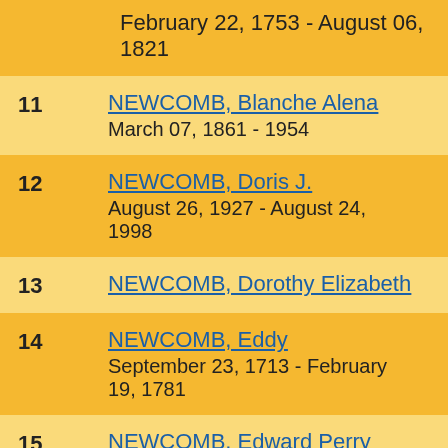February 22, 1753 - August 06, 1821
11 NEWCOMB, Blanche Alena March 07, 1861 - 1954
12 NEWCOMB, Doris J. August 26, 1927 - August 24, 1998
13 NEWCOMB, Dorothy Elizabeth
14 NEWCOMB, Eddy September 23, 1713 - February 19, 1781
15 NEWCOMB, Edward Perry July 10, 1831 - April 10, 1916